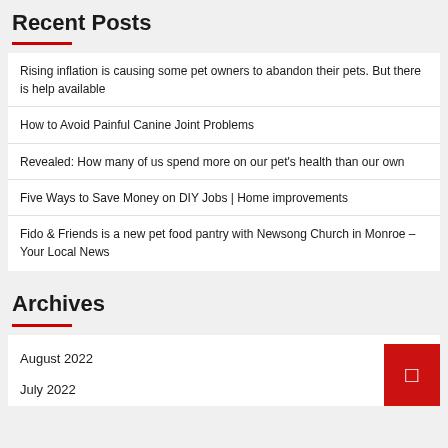Recent Posts
Rising inflation is causing some pet owners to abandon their pets. But there is help available
How to Avoid Painful Canine Joint Problems
Revealed: How many of us spend more on our pet's health than our own
Five Ways to Save Money on DIY Jobs | Home improvements
Fido & Friends is a new pet food pantry with Newsong Church in Monroe – Your Local News
Archives
August 2022
July 2022